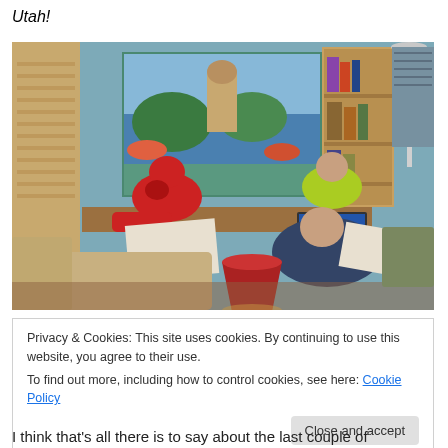Utah!
[Figure (photo): Indoor photo of three people sitting at a table in a living room. One person in a red hoodie on the left, one in a yellow shirt in the background, and one on the right reading papers. A decorative landscape painting hangs on the wall, a bookshelf is in the background, a floor lamp on the right, and a red table lamp in the foreground.]
Privacy & Cookies: This site uses cookies. By continuing to use this website, you agree to their use.
To find out more, including how to control cookies, see here: Cookie Policy
I think that's all there is to say about the last couple of